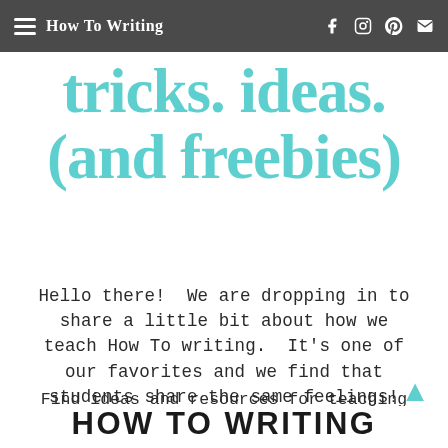How To Writing | tricks. ideas. (and freebies)
tricks. ideas. (and freebies)
Hello there!  We are dropping in to share a little bit about how we teach How To writing.  It's one of our favorites and we find that students share the same feelings!
Find ideas and resources for teaching How-To writing in the classroom!
HOW TO WRITING